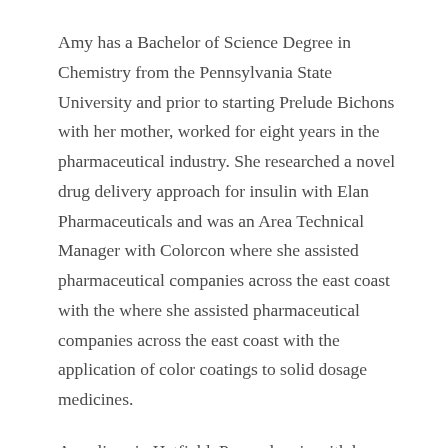Amy has a Bachelor of Science Degree in Chemistry from the Pennsylvania State University and prior to starting Prelude Bichons with her mother, worked for eight years in the pharmaceutical industry. She researched a novel drug delivery approach for insulin with Elan Pharmaceuticals and was an Area Technical Manager with Colorcon where she assisted pharmaceutical companies across the east coast with the where she assisted pharmaceutical companies across the east coast with the application of color coatings to solid dosage medicines.
Amy lives in Hatfield, Pennsylvania with her husband, Mike and two children, Jonathan and Anna. In addition to her children, Amy also has two small...